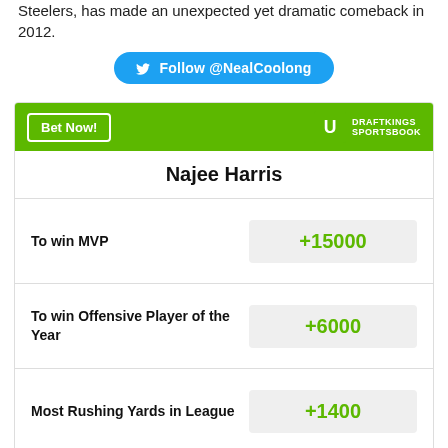Steelers, has made an unexpected yet dramatic comeback in 2012.
Follow @NealCoolong
| Bet | Odds |
| --- | --- |
| Najee Harris |  |
| To win MVP | +15000 |
| To win Offensive Player of the Year | +6000 |
| Most Rushing Yards in League | +1400 |
Odds/Lines subject to change. See draftkings.com for details.